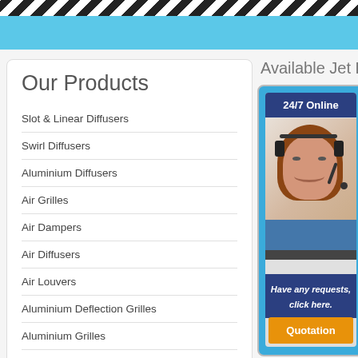[Figure (screenshot): Top banner with diagonal black and white stripes and blue background, website header area]
Our Products
Slot & Linear Diffusers
Swirl Diffusers
Aluminium Diffusers
Air Grilles
Air Dampers
Air Diffusers
Air Louvers
Aluminium Deflection Grilles
Aluminium Grilles
Sound Attenuator
Available Jet Diff
[Figure (infographic): Support widget showing 24/7 Online badge, customer service representative with headset, text 'Have any requests, click here.' and Quotation button]